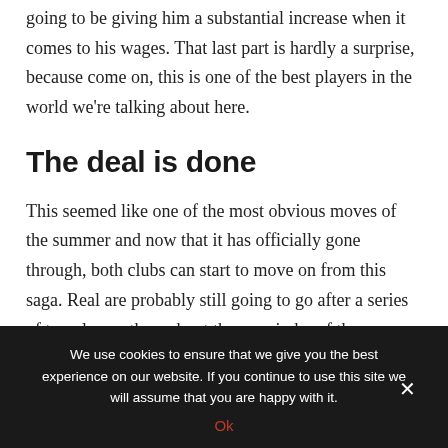going to be giving him a substantial increase when it comes to his wages. That last part is hardly a surprise, because come on, this is one of the best players in the world we're talking about here.
The deal is done
This seemed like one of the most obvious moves of the summer and now that it has officially gone through, both clubs can start to move on from this saga. Real are probably still going to go after a series of top players throughout the remainder of the summer transfer window, whereas Chelsea
We use cookies to ensure that we give you the best experience on our website. If you continue to use this site we will assume that you are happy with it.
Ok